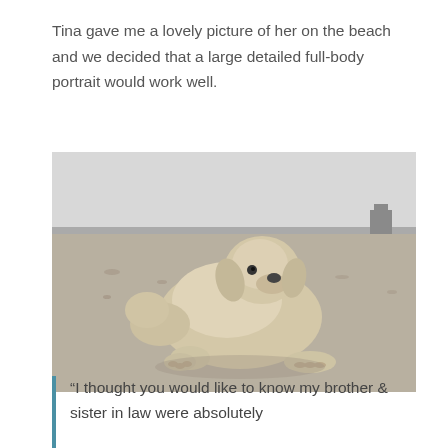Tina gave me a lovely picture of her on the beach and we decided that a large detailed full-body portrait would work well.
[Figure (photo): Black and white photograph of a large Golden Retriever dog lying on a beach, looking at the camera. The ocean and a distant structure are visible in the background.]
“I thought you would like to know my brother & sister in law were absolutely